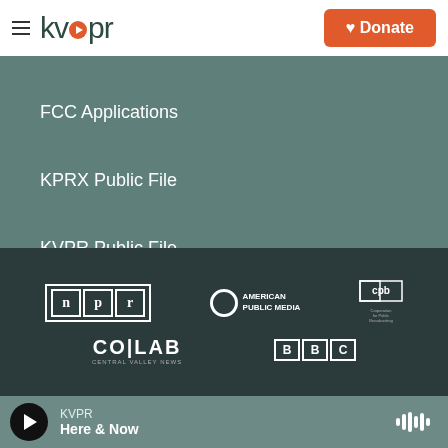kvpr — Donate
FCC Applications
KPRX Public File
KVPR Public File
Contest Rules
[Figure (logo): NPR logo, American Public Media logo, CPB logo, COLAB Central Valley logo, BBC logo]
KVPR — Here & Now (audio player bar)